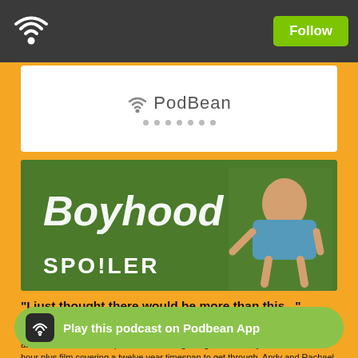[Figure (logo): Podbean wifi/podcast app logo in white on dark gray top bar]
Follow
[Figure (logo): PodBean logo with wifi icon and dots on white banner]
[Figure (photo): Boyhood movie spoiler podcast art — child lying on grass with 'Boyhood' and 'SPOILER' text on green grass background]
"I just thought there would be more than this..."
It's the end of series six and the Spoiler team are going out on a high by looking at Richard Linklater's experimental coming-of-age drama 'Boyhood'. With a two hour plus film covering a twelve year timespan to get through, Andy and Rachael try desperately to make Paul come to terms with the fact that... Coldplay's 'Yellow'. With this st... rships with 'Boyhood' dramatic score... Andy divides the film...
Play this podcast on Podbean App